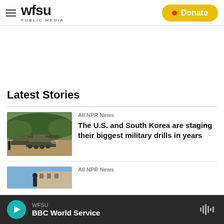WFSU PUBLIC MEDIA | Donate
Latest Stories
[Figure (photo): Military tanks (South Korean self-propelled howitzers) during a military exercise, with green hills in background]
All NPR News
The U.S. and South Korea are staging their biggest military drills in years
[Figure (photo): Partial view of a second news story image, partially cut off at bottom of page]
All NPR News
WFSU | BBC World Service